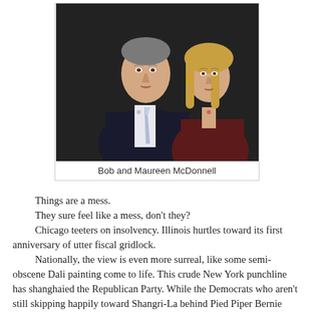[Figure (photo): Photo of Bob and Maureen McDonnell, a man in a dark suit with a light tie and a woman with blonde hair in a dark outfit, standing together against a dark background.]
Bob and Maureen McDonnell
Things are a mess.
    They sure feel like a mess, don't they?
    Chicago teeters on insolvency. Illinois hurtles toward its first anniversary of utter fiscal gridlock.
    Nationally, the view is even more surreal, like some semi-obscene Dali painting come to life. This crude New York punchline has shanghaied the Republican Party. While the Democrats who aren't still skipping happily toward Shangri-La behind Pied Piper Bernie Sanders, banging tambourines wrapped in ribbons, grimly assemble around scarred old campaigner Hillary Clinton, like yeomen clutching pointed staffs in a muddy field around Henry V, psyching themselves up to fight off the legions of bowl-haircut